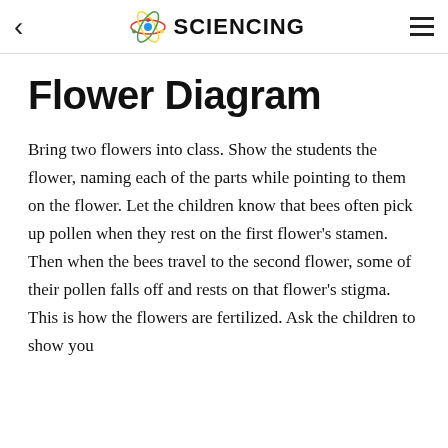< SCIENCING ≡
Flower Diagram
Bring two flowers into class. Show the students the flower, naming each of the parts while pointing to them on the flower. Let the children know that bees often pick up pollen when they rest on the first flower's stamen. Then when the bees travel to the second flower, some of their pollen falls off and rests on that flower's stigma. This is how the flowers are fertilized. Ask the children to show you